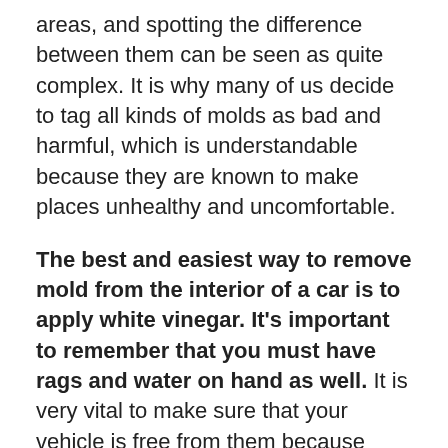areas, and spotting the difference between them can be seen as quite complex. It is why many of us decide to tag all kinds of molds as bad and harmful, which is understandable because they are known to make places unhealthy and uncomfortable.
The best and easiest way to remove mold from the interior of a car is to apply white vinegar. It's important to remember that you must have rags and water on hand as well. It is very vital to make sure that your vehicle is free from them because these molds contain spores, and breathing these spores in can have detrimental effects on your health. It is why in this article, we will